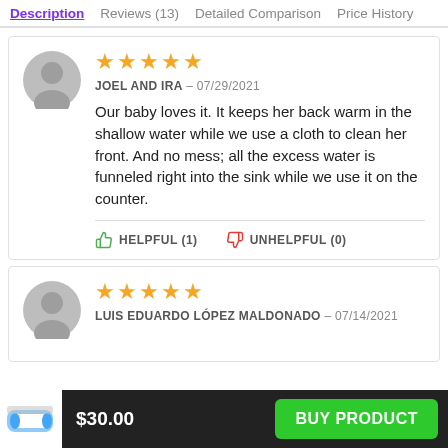Description | Reviews (13) | Detailed Comparison | Price History
★★★★★
JOEL AND IRA – 07/29/2021
Our baby loves it. It keeps her back warm in the shallow water while we use a cloth to clean her front. And no mess; all the excess water is funneled right into the sink while we use it on the counter.
HELPFUL (1)  UNHELPFUL (0)
★★★★★
LUIS EDUARDO LÓPEZ MALDONADO – 07/14/2021
$30.00  BUY PRODUCT